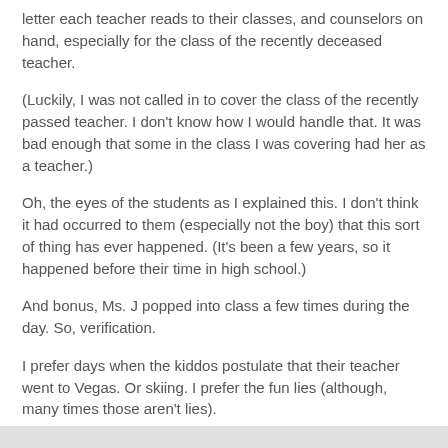letter each teacher reads to their classes, and counselors on hand, especially for the class of the recently deceased teacher.
(Luckily, I was not called in to cover the class of the recently passed teacher. I don't know how I would handle that. It was bad enough that some in the class I was covering had her as a teacher.)
Oh, the eyes of the students as I explained this. I don't think it had occurred to them (especially not the boy) that this sort of thing has ever happened. (It's been a few years, so it happened before their time in high school.)
And bonus, Ms. J popped into class a few times during the day. So, verification.
I prefer days when the kiddos postulate that their teacher went to Vegas. Or skiing. I prefer the fun lies (although, many times those aren't lies).